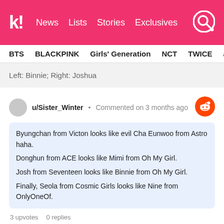Koreaboo | News  Lists  Stories  Exclusives
BTS  BLACKPINK  Girls' Generation  NCT  TWICE  aespa
Left: Binnie; Right: Joshua
u/Sister_Winter • Commented on 3 months ago
Byungchan from Victon looks like evil Cha Eunwoo from Astro haha.
Donghun from ACE looks like Mimi from Oh My Girl.
Josh from Seventeen looks like Binnie from Oh My Girl.
Finally, Seola from Cosmic Girls looks like Nine from OnlyOneOf.
3 upvotes   0 replies
11. Taehyun (TXT) and Sakura (LE